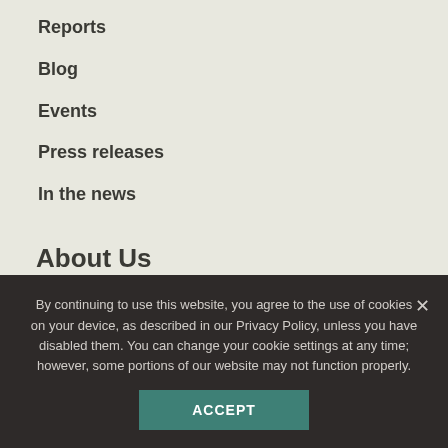Reports
Blog
Events
Press releases
In the news
About Us
People
Partners
Justice & equity
By continuing to use this website, you agree to the use of cookies on your device, as described in our Privacy Policy, unless you have disabled them. You can change your cookie settings at any time; however, some portions of our website may not function properly.
ACCEPT